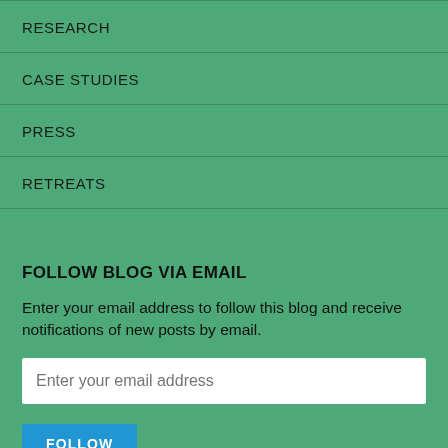RESEARCH
CASE STUDIES
PRESS
RETREATS
FOLLOW BLOG VIA EMAIL
Enter your email address to follow this blog and receive notifications of new posts by email.
UPCOMING EVENTS